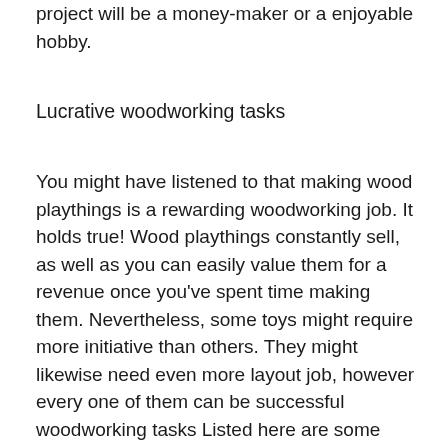project will be a money-maker or a enjoyable hobby.
Lucrative woodworking tasks
You might have listened to that making wood playthings is a rewarding woodworking job. It holds true! Wood playthings constantly sell, as well as you can easily value them for a revenue once you've spent time making them. Nevertheless, some toys might require more initiative than others. They might likewise need even more layout job, however every one of them can be successful woodworking tasks Listed here are some concepts for wooden toys. Profitable woodworking projects for beginners.